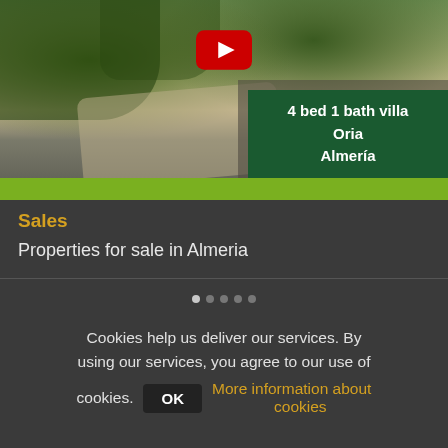[Figure (photo): Property photo thumbnail showing a villa exterior with garden path and trees, with a YouTube play button overlay. A dark green box in the bottom-right corner shows '4 bed 1 bath villa / Oria / Almería'. A yellow-green banner at the bottom.]
Sales
Properties for sale in Almeria
Cookies help us deliver our services. By using our services, you agree to our use of cookies.
OK  More information about cookies